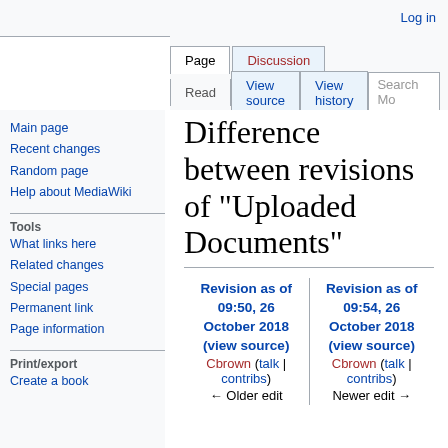Log in
Page | Discussion | Read | View source | View history | Search Mo
Difference between revisions of "Uploaded Documents"
Revision as of 09:50, 26 October 2018 (view source)
Cbrown (talk | contribs)
← Older edit
Revision as of 09:54, 26 October 2018 (view source)
Cbrown (talk | contribs)
Newer edit →
Main page
Recent changes
Random page
Help about MediaWiki
Tools
What links here
Related changes
Special pages
Permanent link
Page information
Print/export
Create a book